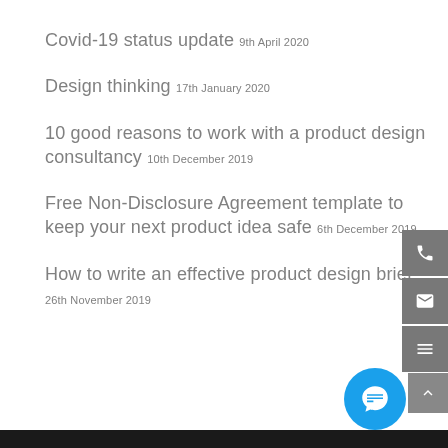Covid-19 status update 9th April 2020
Design thinking 17th January 2020
10 good reasons to work with a product design consultancy 10th December 2019
Free Non-Disclosure Agreement template to keep your next product idea safe 6th December 2019
How to write an effective product design brief 26th November 2019